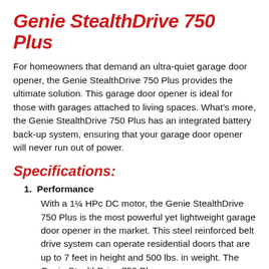Genie StealthDrive 750 Plus
For homeowners that demand an ultra-quiet garage door opener, the Genie StealthDrive 750 Plus provides the ultimate solution. This garage door opener is ideal for those with garages attached to living spaces. What’s more, the Genie StealthDrive 750 Plus has an integrated battery back-up system, ensuring that your garage door opener will never run out of power.
Specifications:
1. Performance
With a 1¼ HPc DC motor, the Genie StealthDrive 750 Plus is the most powerful yet lightweight garage door opener in the market. This steel reinforced belt drive system can operate residential doors that are up to 7 feet in height and 500 lbs. in weight. The Genie StealthDrive 750 Plus